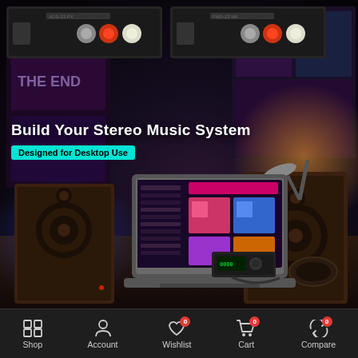[Figure (photo): Product promotional photo showing a stereo audio system setup on a desktop with two bookshelf speakers, a laptop displaying a music streaming interface, a DAC/amplifier device, headphones, and a desk lamp in a dark ambient-lit room. Two product images shown at the top (front and side views of the device). Overlay text reads 'Build Your Stereo Music System' with a teal badge 'Designed for Desktop Use'.]
Specification:
*Model: K3
Shop  Account  Wishlist 0  Cart 0  Compare 0